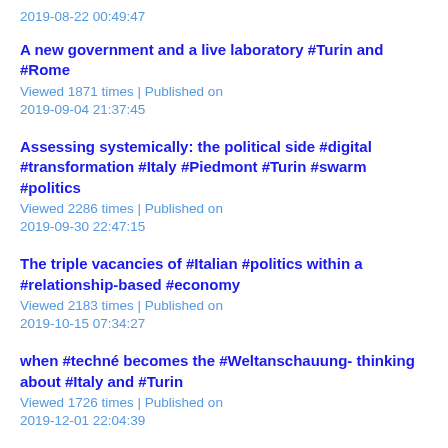2019-08-22 00:49:47
A new government and a live laboratory #Turin and #Rome
Viewed 1871 times | Published on 2019-09-04 21:37:45
Assessing systemically: the political side #digital #transformation #Italy #Piedmont #Turin #swarm #politics
Viewed 2286 times | Published on 2019-09-30 22:47:15
The triple vacancies of #Italian #politics within a #relationship-based #economy
Viewed 2183 times | Published on 2019-10-15 07:34:27
when #techné becomes the #Weltanschauung- thinking about #Italy and #Turin
Viewed 1726 times | Published on 2019-12-01 22:04:39